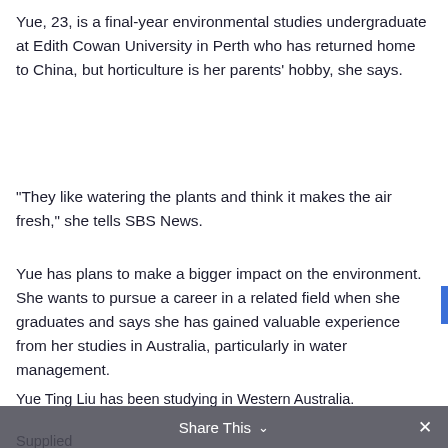Yue, 23, is a final-year environmental studies undergraduate at Edith Cowan University in Perth who has returned home to China, but horticulture is her parents' hobby, she says.
“They like watering the plants and think it makes the air fresh,” she tells SBS News.
Yue has plans to make a bigger impact on the environment. She wants to pursue a career in a related field when she graduates and says she has gained valuable experience from her studies in Australia, particularly in water management.
Yue Ting Liu has been studying in Western Australia.
Supplied
Last year 160,000 Chinese students were enrolled in Australia’s higher education system, according to data portal Statista. Those who can afford to study overseas